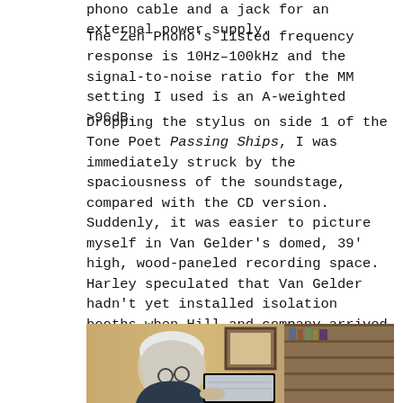phono cable and a jack for an external power supply.
The Zen Phono's listed frequency response is 10Hz–100kHz and the signal-to-noise ratio for the MM setting I used is an A-weighted >96dB.
Dropping the stylus on side 1 of the Tone Poet Passing Ships, I was immediately struck by the spaciousness of the soundstage, compared with the CD version. Suddenly, it was easier to picture myself in Van Gelder's domed, 39' high, wood-paneled recording space. Harley speculated that Van Gelder hadn't yet installed isolation booths when Hill and company arrived to record on November 7, 1969. Instead, he used dividers between the nine musicians, and Harley said he was pleased with the clean separation the famed engineer had achieved.
[Figure (photo): A person with white/grey hair and glasses sitting at a desk, looking down at what appears to be a turntable or audio equipment, with a lamp and shelving visible in the background.]